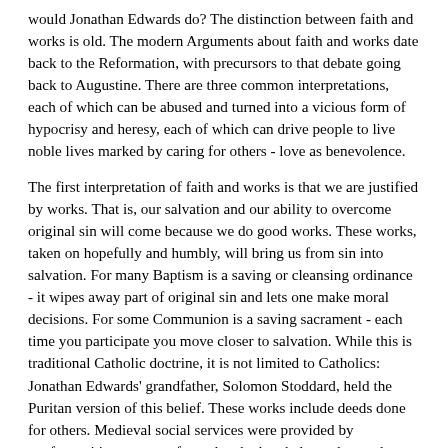would Jonathan Edwards do? The distinction between faith and works is old. The modern Arguments about faith and works date back to the Reformation, with precursors to that debate going back to Augustine. There are three common interpretations, each of which can be abused and turned into a vicious form of hypocrisy and heresy, each of which can drive people to live noble lives marked by caring for others - love as benevolence.
The first interpretation of faith and works is that we are justified by works. That is, our salvation and our ability to overcome original sin will come because we do good works. These works, taken on hopefully and humbly, will bring us from sin into salvation. For many Baptism is a saving or cleansing ordinance - it wipes away part of original sin and lets one make moral decisions. For some Communion is a saving sacrament - each time you participate you move closer to salvation. While this is traditional Catholic doctrine, it is not limited to Catholics: Jonathan Edwards' grandfather, Solomon Stoddard, held the Puritan version of this belief. These works include deeds done for others. Medieval social services were provided by confraternities, groups of people who banded together to do good deeds and thus earn salvation. Some, including Ben Franklin the notorious skeptic, argue that it is by doing good deeds and acting like a good person that one, actually, becomes a better person.
This, I should add, is, to some degree, American. In his...